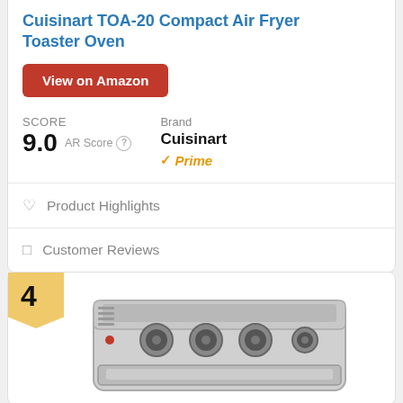Cuisinart TOA-20 Compact Air Fryer Toaster Oven
View on Amazon
SCORE
9.0  AR Score
Brand
Cuisinart
Prime
♡  Product Highlights
🗨  Customer Reviews
4
[Figure (photo): Cuisinart TOA-20 Compact Air Fryer Toaster Oven product photo - stainless steel countertop oven with four control knobs on front panel]